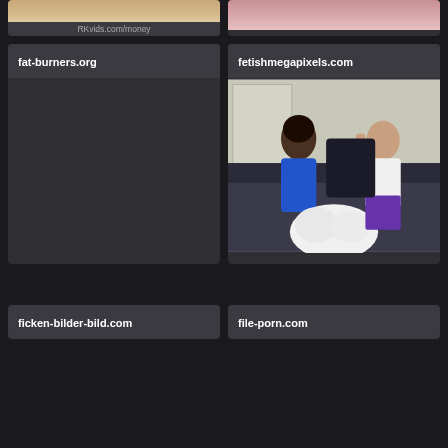[Figure (screenshot): Partial top strip: left card with partial image and URL bar showing RKvids.com/money; right card with partial skin-toned image]
fat-burners.org
[Figure (screenshot): fetishmegapixels.com card with thumbnail showing two people sitting on a couch, woman in blue dress and man in white t-shirt]
fetishmegapixels.com
ficken-bilder-bild.com
file-porn.com